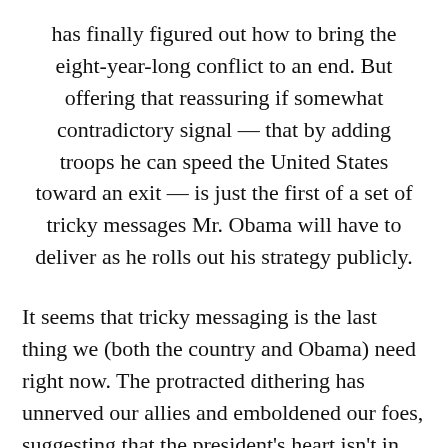has finally figured out how to bring the eight-year-long conflict to an end. But offering that reassuring if somewhat contradictory signal — that by adding troops he can speed the United States toward an exit — is just the first of a set of tricky messages Mr. Obama will have to deliver as he rolls out his strategy publicly.
It seems that tricky messaging is the last thing we (both the country and Obama) need right now. The protracted dithering has unnerved our allies and emboldened our foes, suggesting that the president's heart isn't in this and that he is desperately looking to find an out. Now he's going to reinforce that by publicly hedging his bets? Well, that's the sort of suggestion that